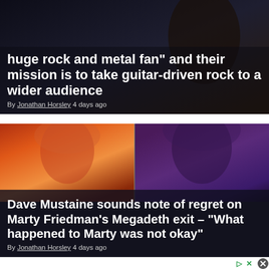[Figure (screenshot): Article card with dark background featuring a musician, partial headline visible at top]
huge rock and metal fan and their mission is to take guitar-driven rock to a wider audience
By Jonathan Horsley 4 days ago
[Figure (photo): Split photo: left half shows Dave Mustaine with red hair against red background, right half shows Marty Friedman with dark curly hair against blue/purple background]
Dave Mustaine sounds note of regret on Marty Friedman's Megadeth exit – "What happened to Marty was not okay"
By Jonathan Horsley 4 days ago
[Figure (screenshot): Advertisement banner area, white background with close button (X) and playback controls icon in top right corner]